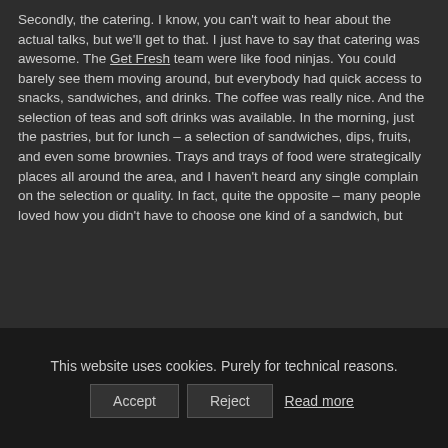Secondly, the catering.  I know, you can't wait to hear about the actual talks, but we'll get to that.  I just have to say that catering was awesome.  The Get Fresh team were like food ninjas.  You could barely see them moving around, but everybody had quick access to snacks, sandwiches, and drinks.  The coffee was really nice.  And the selection of teas and soft drinks was available.  In the morning, just the pastries, but for lunch – a selection of sandwiches, dips, fruits, and even some brownies.  Trays and trays of food were strategically places all around the area, and I haven't heard any single complain on the selection or quality.  In fact, quite the opposite – many people loved how you didn't have to choose one kind of a sandwich, but
This website uses cookies. Purely for technical reasons.
Accept
Reject
Read more